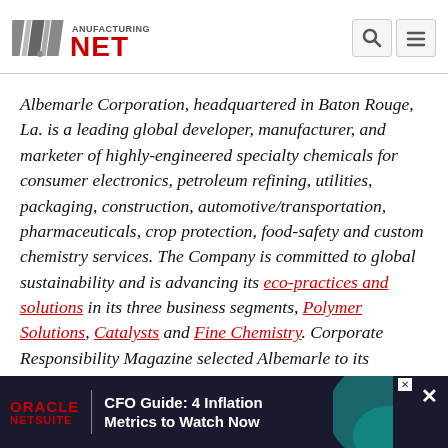[Figure (logo): Manufacturing.net logo — stylized 'M' with stripes and 'NET' in red bold text with 'ANUFACTURING' smaller above]
Albemarle Corporation, headquartered in Baton Rouge, La. is a leading global developer, manufacturer, and marketer of highly-engineered specialty chemicals for consumer electronics, petroleum refining, utilities, packaging, construction, automotive/transportation, pharmaceuticals, crop protection, food-safety and custom chemistry services. The Company is committed to global sustainability and is advancing its eco-practices and solutions in its three business segments, Polymer Solutions, Catalysts and Fine Chemistry. Corporate Responsibility Magazine selected Albemarle to its prestigious 100 Best Corporate Citizens list for 2010 a... approximately
[Figure (infographic): Oracle NetSuite advertisement banner: dark background with Oracle NetSuite logo in red and white, text 'CFO Guide: 4 Inflation Metrics to Watch Now', teal graphic on right, close X button]